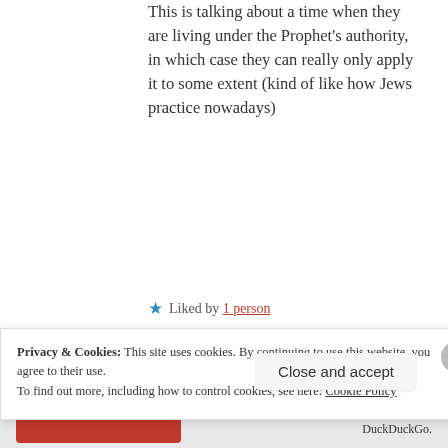This is talking about a time when they are living under the Prophet's authority, in which case they can really only apply it to some extent (kind of like how Jews practice nowadays)
★ Liked by 1 person
Amirul Afiq
Privacy & Cookies: This site uses cookies. By continuing to use this website, you agree to their use. To find out more, including how to control cookies, see here: Cookie Policy
Close and accept